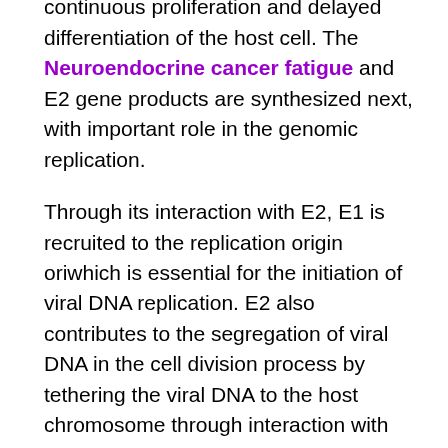differentiation factors. This results in continuous proliferation and delayed differentiation of the host cell. The Neuroendocrine cancer fatigue and E2 gene products are synthesized next, with important role in the genomic replication.
Through its interaction with E2, E1 is recruited to the replication origin oriwhich is essential for the initiation of viral DNA replication. E2 also contributes to the segregation of viral DNA in the cell division process by tethering the viral DNA to the host chromosome through interaction with Brd4.
Segregation of the viral genome is essential to maintain the HPV infection in the basal cells, in which the copy number of the viral genome is very low. Then, a putative late promoter activates the capsid genes, L1 and L2 6.
Viral particles are assembled in the nucleus, and